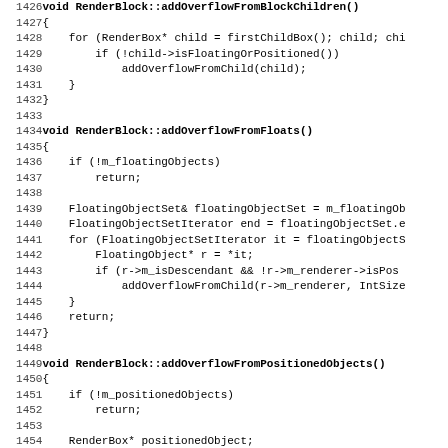Source code listing showing C++ methods: RenderBlock::addOverflowFromBlockChildren (lines 1427-1432), RenderBlock::addOverflowFromFloats (lines 1434-1447), and RenderBlock::addOverflowFromPositionedObjects (lines 1449-1458)